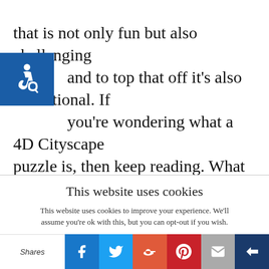puzzle that is not only fun but also challenging and to top that off it's also educational. If you're wondering what a 4D Cityscape puzzle is, then keep reading. What is 4D Cityscape? The 4D Cityscape puzzles are a patented, three-layer puzzle design that is educational, dynamic and fun while still providing a challenge to players. You go about [Read more...]
This website uses cookies
This website uses cookies to improve your experience. We'll assume you're ok with this, but you can opt-out if you wish.
Shares